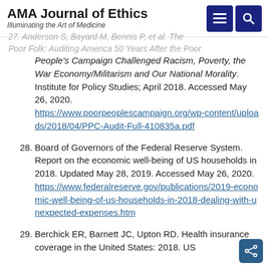AMA Journal of Ethics — Illuminating the Art of Medicine
27. Anderson S, Bayard M, Bennis P, et al. The Poor Folk: Auditing America 50 Years After the Poor People's Campaign Challenged Racism, Poverty, the War Economy/Militarism and Our National Morality. Institute for Policy Studies; April 2018. Accessed May 26, 2020. https://www.poorpeoplescampaign.org/wp-content/uploads/2018/04/PPC-Audit-Full-410835a.pdf
28. Board of Governors of the Federal Reserve System. Report on the economic well-being of US households in 2018. Updated May 28, 2019. Accessed May 26, 2020. https://www.federalreserve.gov/publications/2019-economic-well-being-of-us-households-in-2018-dealing-with-unexpected-expenses.htm
29. Berchick ER, Barnett JC, Upton RD. Health insurance coverage in the United States: 2018. US